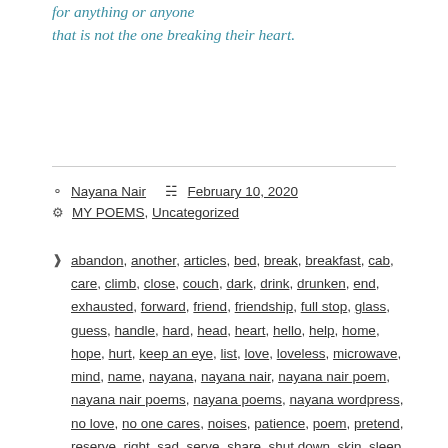for anything or anyone
that is not the one breaking their heart.
Nayana Nair   February 10, 2020
MY POEMS, Uncategorized
abandon, another, articles, bed, break, breakfast, cab, care, climb, close, couch, dark, drink, drunken, end, exhausted, forward, friend, friendship, full stop, glass, guess, handle, hard, head, heart, hello, help, home, hope, hurt, keep an eye, list, love, loveless, microwave, mind, name, nayana, nayana nair, nayana nair poem, nayana nair poems, nayana poems, nayana wordpress, no love, no one cares, noises, patience, poem, pretend, reserve, right, sad, serve, share, shut down, skin, sleep, smile, song, speak, suspect, tear, the broken hearted, true